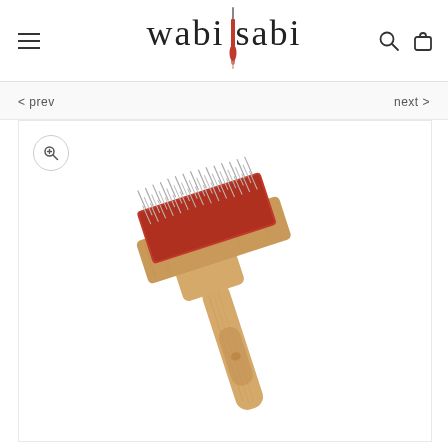wabi | sabi
< prev
next >
[Figure (photo): A wooden fiber carding hand paddle/slicker brush with a red rubber base embedded with metal pins/tines, attached to a natural wood handle. The tool is used for fiber arts (carding wool). Photographed on white background.]